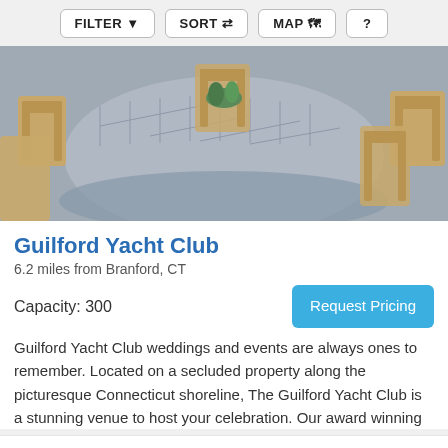FILTER  SORT  MAP  ?
[Figure (photo): Interior photo of event venue showing round tables with silver/grey diamond-patterned tablecloths and wooden Chiavari chairs]
Guilford Yacht Club
6.2 miles from Branford, CT
Capacity: 300
Request Pricing
Guilford Yacht Club weddings and events are always ones to remember. Located on a secluded property along the picturesque Connecticut shoreline, The Guilford Yacht Club is a stunning venue to host your celebration. Our award winning
Boat/Yacht
[Figure (photo): Partial view of second venue listing showing dark wood interior]